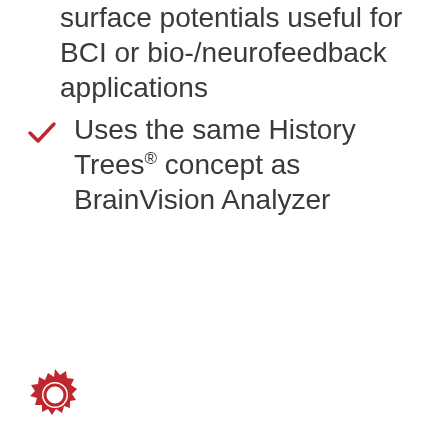surface potentials useful for BCI or bio-/neurofeedback applications
Uses the same History Trees® concept as BrainVision Analyzer
[Figure (logo): BrainVision red starburst/gear logo in bottom left corner]